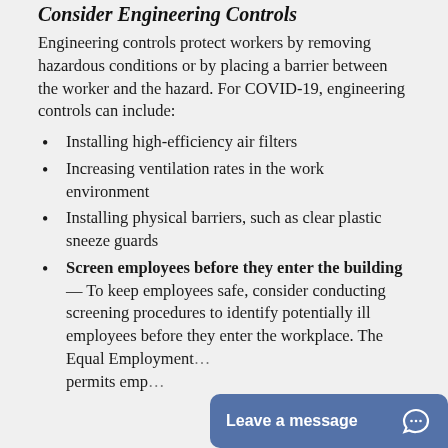Consider Engineering Controls
Engineering controls protect workers by removing hazardous conditions or by placing a barrier between the worker and the hazard. For COVID-19, engineering controls can include:
Installing high-efficiency air filters
Increasing ventilation rates in the work environment
Installing physical barriers, such as clear plastic sneeze guards
Screen employees before they enter the building— To keep employees safe, consider conducting screening procedures to identify potentially ill employees before they enter the workplace. The Equal Employment… permits emp…